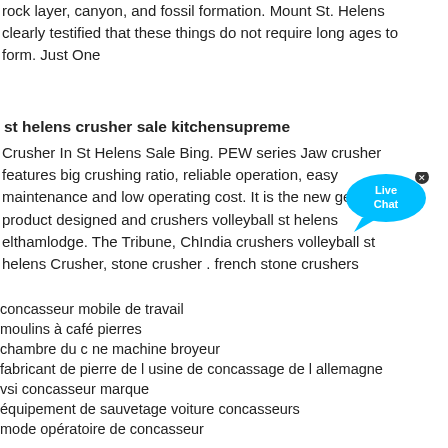rock layer, canyon, and fossil formation. Mount St. Helens clearly testified that these things do not require long ages to form. Just One
st helens crusher sale kitchensupreme
Crusher In St Helens Sale Bing. PEW series Jaw crusher features big crushing ratio, reliable operation, easy maintenance and low operating cost. It is the new generation product designed and crushers volleyball st helens elthamlodge. The Tribune, Ch India crushers volleyball st helens Crusher, stone crusher . french stone crushers
concasseur mobile de travail
moulins à café pierres
chambre du c ne machine broyeur
fabricant de pierre de l usine de concassage de l allemagne
vsi concasseur marque
équipement de sauvetage voiture concasseurs
mode opératoire de concasseur